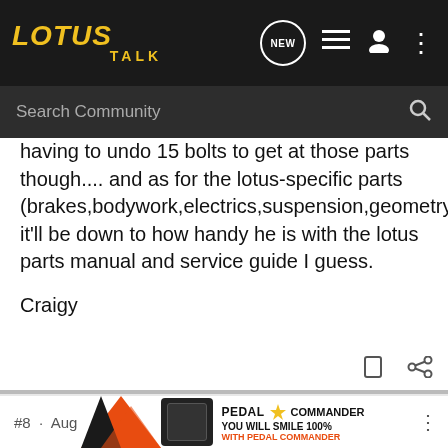LOTUS TALK
having to undo 15 bolts to get at those parts though.... and as for the lotus-specific parts (brakes,bodywork,electrics,suspension,geometry,etc) it'll be down to how handy he is with the lotus parts manual and service guide I guess.

Craigy
demi · Registered
Joined Apr 12, 2003 · 55 Posts
#8 · Aug
[Figure (screenshot): Pedal Commander advertisement banner: YOU WILL SMILE 100% WITH PEDAL COMMANDER]